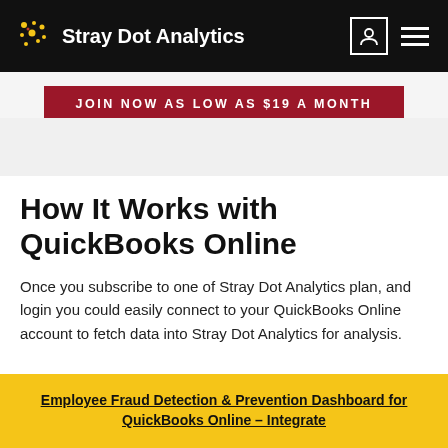Stray Dot Analytics
JOIN NOW AS LOW AS $19 A MONTH
How It Works with QuickBooks Online
Once you subscribe to one of Stray Dot Analytics plan, and login you could easily connect to your QuickBooks Online account to fetch data into Stray Dot Analytics for analysis.
[Figure (illustration): Icons showing integration steps with QuickBooks Online]
Employee Fraud Detection & Prevention Dashboard for QuickBooks Online – Integrate